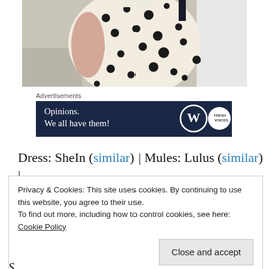[Figure (photo): Partial photo of a person wearing a white polka dot dress, cropped to show torso/midsection area, outdoor setting]
Advertisements
[Figure (other): Dark navy advertisement banner reading 'Opinions. We all have them!' with WordPress and Fresh logo icons on the right]
Dress: SheIn (similar) | Mules: Lulus (similar) |
Privacy & Cookies: This site uses cookies. By continuing to use this website, you agree to their use.
To find out more, including how to control cookies, see here:
Cookie Policy
Close and accept